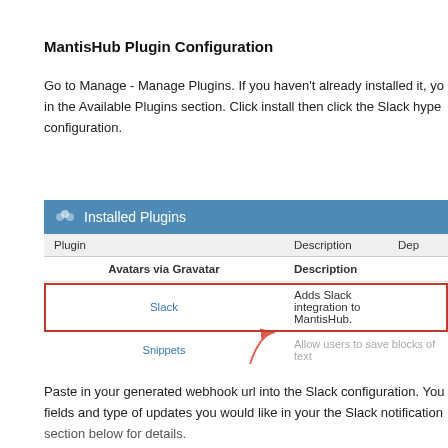MantisHub Plugin Configuration
Go to Manage - Manage Plugins. If you haven't already installed it, you'll find it in the Available Plugins section. Click install then click the Slack hyperlink for configuration.
[Figure (screenshot): Screenshot of MantisHub Installed Plugins panel showing a table with Plugin, Description, Dep columns. Rows include Avatars via Gravatar, Slack (highlighted with red border), and Snippets. Slack row shows 'Adds Slack integration to MantisHub.' An arrow annotation points to the Slack row.]
Paste in your generated webhook url into the Slack configuration. You can choose which fields and type of updates you would like in your the Slack notification section below for details.